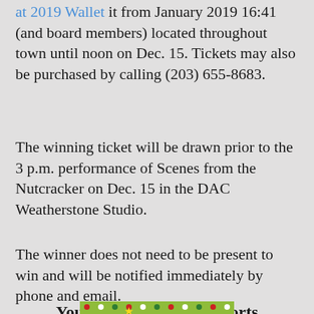at 2019 Wallet It from January 2019 16:41 (and board members) located throughout town until noon on Dec. 15. Tickets may also be purchased by calling (203) 655-8683.
The winning ticket will be drawn prior to the 3 p.m. performance of Scenes from the Nutcracker on Dec. 15 in the DAC Weatherstone Studio.
The winner does not need to be present to win and will be notified immediately by phone and email.
Your Raffle Ticket Supports Programs Like These
[Figure (illustration): Festive holiday image with green background decorated with red, white, and green polka dots, featuring a Christmas tree with a star on top]